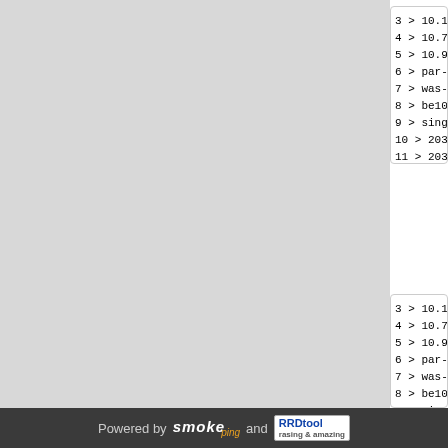3 > 10.1
4 > 10.7
5 > 10.9
6 > par-
7 > was-
8 > be10
9 > sing
10 > 203.
11 > 203.
12 >
13 >
14 > 223.
15 > ns2.
3 > 10.1
4 > 10.7
5 > 10.9
6 > par-
7 > was-
8 > be10
9 > sing
10 > 203.
11 > 203.
Powered by smoke ping and RRDtool